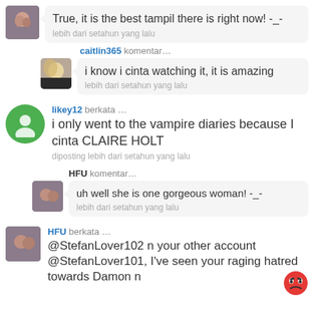[Figure (screenshot): Social media comment thread with user avatars and comment bubbles. First comment bubble: 'True, it is the best tampil there is right now! -_-', timestamp 'lebih dari setahun yang lalu'. Reply by caitlin365: 'i know i cinta watching it, it is amazing', timestamp 'lebih dari setahun yang lalu'. Post by likey12: 'i only went to the vampire diaries because I cinta CLAIRE HOLT', timestamp 'diposting lebih dari setahun yang lalu'. Reply by HFU: 'uh well she is one gorgeous woman! -_-', timestamp 'lebih dari setahun yang lalu'. Post by HFU: '@StefanLover102 n your other account @StefanLover101, I've seen your raging hatred towards Damon n', with angry emoji.]